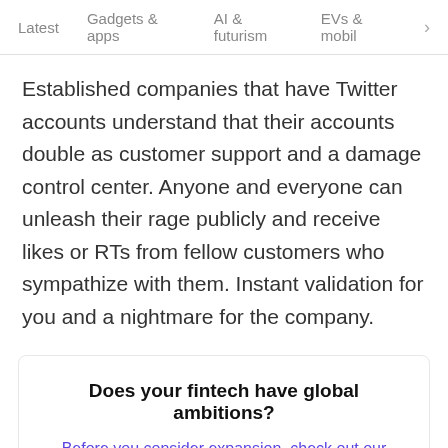Latest   Gadgets & apps   AI & futurism   EVs & mobil  >
Established companies that have Twitter accounts understand that their accounts double as customer support and a damage control center. Anyone and everyone can unleash their rage publicly and receive likes or RTs from fellow customers who sympathize with them. Instant validation for you and a nightmare for the company.
Does your fintech have global ambitions?
Before you consider expansion, check out our handy checklist
Read article